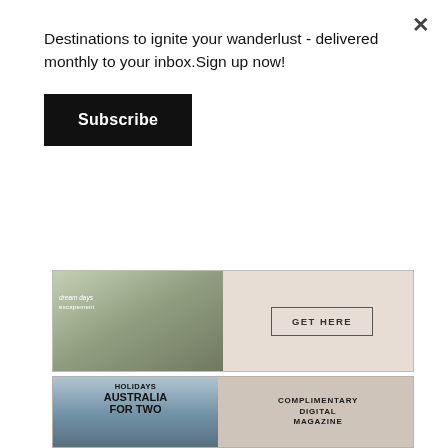Destinations to ignite your wanderlust - delivered monthly to your inbox.Sign up now!
[Figure (screenshot): Subscribe button - black rectangular button with white bold text 'Subscribe']
[Figure (infographic): Partially visible advertisement banner with a couple walking in a field on the left side and a 'GET HERE' button on the right, on a beige background]
[Figure (infographic): Advertisement for 'Holidays - Australia For Two' digital magazine showing a couple at a waterfront, with text 'COMPLIMENTARY DIGITAL MAGAZINE' and a download arrow icon and 'READ HERE' button on the right]